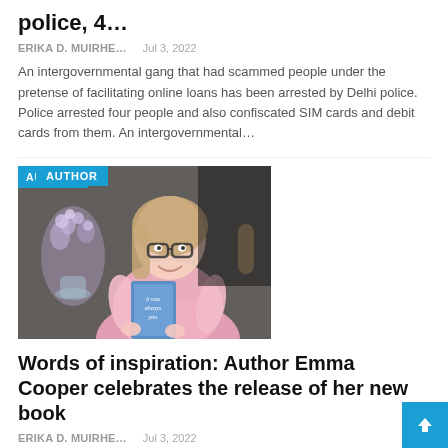police, 4…
ERIKA D. MUIRHE…    Jul 3, 2022
An intergovernmental gang that had scammed people under the pretense of facilitating online loans has been arrested by Delhi police. Police arrested four people and also confiscated SIM cards and debit cards from them. An intergovernmental…
[Figure (photo): Woman in pink top holding a book titled 'It Was Always You', smiling, with flowers in background. Blue AUTHOR badge overlay in top-left.]
Words of inspiration: Author Emma Cooper celebrates the release of her new book
ERIKA D. MUIRHE…    Jul 3, 2022
Author Emma Cooper from Telford, with her new book It Was Always YouFor best-selling author Emma Cooper, this thought-provoking question inspired her new novel, It Was Always You."I was washing dishes and looked out the window and on…